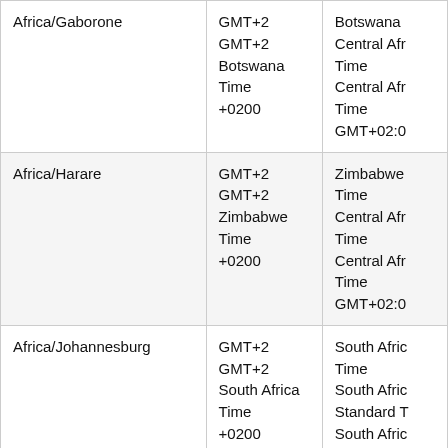| Africa/Gaborone | GMT+2
GMT+2
Botswana Time
+0200 | Botswana
Central Afr
Time
Central Afr
Time
GMT+02:0 |
| Africa/Harare | GMT+2
GMT+2
Zimbabwe
Time
+0200 | Zimbabwe
Time
Central Afr
Time
Central Afr
Time
GMT+02:0 |
| Africa/Johannesburg | GMT+2
GMT+2
South Africa
Time
+0200 | South Afric
Time
South Afric
Standard T
South Afric
Standard T
GMT+02:0 |
|  |  |  |